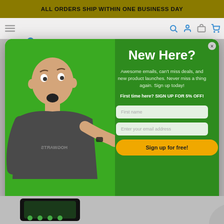ALL ORDERS SHIP WITHIN ONE BUSINESS DAY
[Figure (screenshot): Website popup modal on a toy store (Mazingly Toys) showing a bald man in a Hogwarts shirt pointing right, on a green background. Right side shows a newsletter signup form.]
New Here?
Awesome emails, can't miss deals, and new product launches. Never miss a thing again. Sign up today!
First time here? SIGN UP FOR 5% OFF!
First name
Enter your email address
Sign up for free!